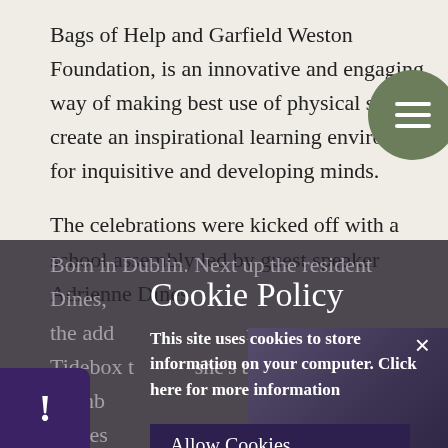Bags of Help and Garfield Weston Foundation, is an innovative and engaging way of making best use of physical space to create an inspirational learning environment for inquisitive and developing minds.
The celebrations were kicked off with a school assembly led by guest speaker Adrienne Dines. Born in Dublin, Next up the resident Dines, the add... Tidebox tell... she's a writer and member... Writes...
Cookie Policy
This site uses cookies to store information on your computer. Click here for more information
Allow Cookies
Deny Cookies